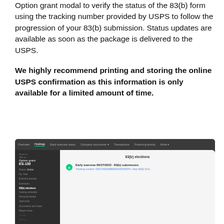Option grant modal to verify the status of the 83(b) form using the tracking number provided by USPS to follow the progression of your 83(b) submission. Status updates are available as soon as the package is delivered to the USPS.
We highly recommend printing and storing the online USPS confirmation as this information is only available for a limited amount of time.
[Figure (screenshot): Screenshot of a web application showing an option grant page for ES-130. The interface has a dark navigation bar with tabs including Holdings (active), and a left sidebar with menu items like Option grant, Vesting schedule, Personal details, Approvals, Documents and notes, Report issue. The main panel shows '83(b) elections' with a green circle icon and text 'Early exercise 06/27/2022 - 83(b) submission' and a tracking number link 'View 83(b) form'.]